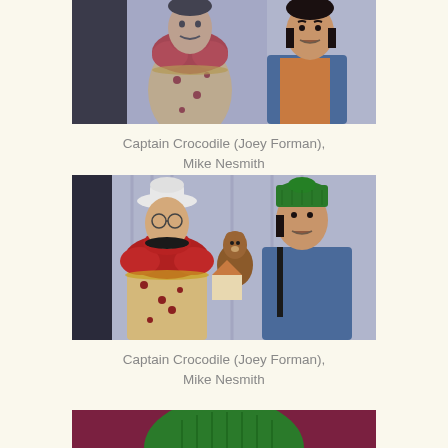[Figure (photo): Two men face each other; one wearing a clown-like polka-dot costume with a large red ruffled collar, the other in a denim jacket. Indoor TV set background.]
Captain Crocodile (Joey Forman), Mike Nesmith
[Figure (photo): Same two men facing each other again; the clown figure in polka-dot costume with red ruffled collar and white hat, the other man in denim jacket and green knit cap. A puppet or animal prop is visible between them.]
Captain Crocodile (Joey Forman), Mike Nesmith
[Figure (photo): Partial view showing top of a person's head wearing a green knit cap, against a dark red/maroon background.]